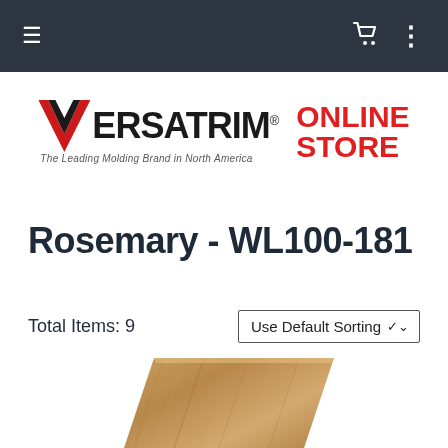Navigation bar with menu, cart, and options icons
[Figure (logo): Versatrim Online Store logo — black Versatrim wordmark with red chevron V icon and tagline 'The Leading Molding Brand in North America', and red bold 'ONLINE STORE' text to the right]
Rosemary - WL100-181
Total Items: 9
Use Default Sorting
[Figure (photo): A diagonal wood molding strip showing natural brown wood grain texture on a white background]